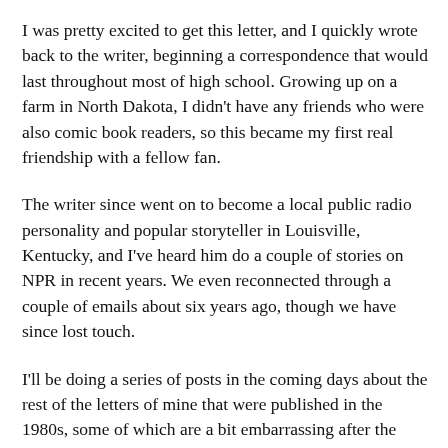I was pretty excited to get this letter, and I quickly wrote back to the writer, beginning a correspondence that would last throughout most of high school. Growing up on a farm in North Dakota, I didn't have any friends who were also comic book readers, so this became my first real friendship with a fellow fan.
The writer since went on to become a local public radio personality and popular storyteller in Louisville, Kentucky, and I've heard him do a couple of stories on NPR in recent years. We even reconnected through a couple of emails about six years ago, though we have since lost touch.
I'll be doing a series of posts in the coming days about the rest of the letters of mine that were published in the 1980s, some of which are a bit embarrassing after the cruel passage of time.
Also, I wanted to let readers know that I'll be at HeroesCon in Charlotte June 20-22, so any readers who are going and want to meet up, let me know in the comments. I will also be